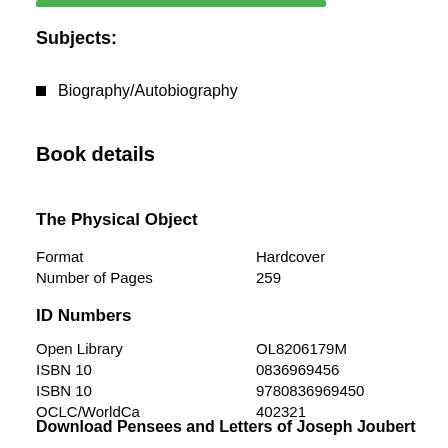Subjects:
Biography/Autobiography
Book details
The Physical Object
|  |  |
| --- | --- |
| Format | Hardcover |
| Number of Pages | 259 |
ID Numbers
|  |  |
| --- | --- |
| Open Library | OL8206179M |
| ISBN 10 | 0836969456 |
| ISBN 10 | 9780836969450 |
| OCLC/WorldCa | 402321 |
Download Pensees and Letters of Joseph Joubert